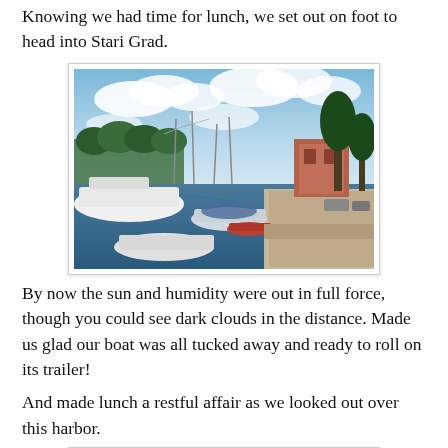Knowing we had time for lunch, we set out on foot to head into Stari Grad.
[Figure (photo): A harbor scene with numerous boats and yachts moored at a stone quay. Blue sky with scattered clouds above. Trees and a building visible on the right side.]
By now the sun and humidity were out in full force, though you could see dark clouds in the distance. Made us glad our boat was all tucked away and ready to roll on its trailer!
And made lunch a restful affair as we looked out over this harbor.
[Figure (photo): Partial view of another harbor photo, cropped at the bottom of the page.]